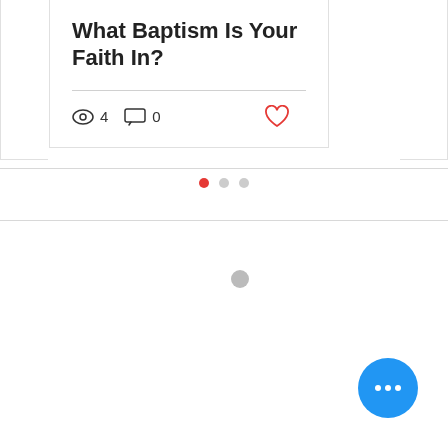What Baptism Is Your Faith In?
[Figure (screenshot): Blog post card UI showing title 'What Baptism Is Your Faith In?' with view count 4, comment count 0, and a heart/like icon. Below the card are pagination dots (first active in red), a horizontal separator, a loading spinner, and a blue FAB button with three dots.]